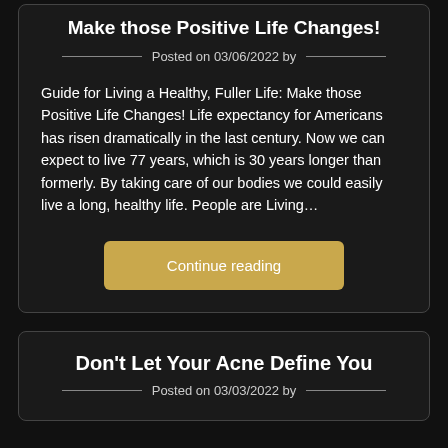Make those Positive Life Changes!
Posted on 03/06/2022 by
Guide for Living a Healthy, Fuller Life: Make those Positive Life Changes! Life expectancy for Americans has risen dramatically in the last century. Now we can expect to live 77 years, which is 30 years longer than formerly. By taking care of our bodies we could easily live a long, healthy life. People are Living…
Continue reading
Don't Let Your Acne Define You
Posted on 03/03/2022 by